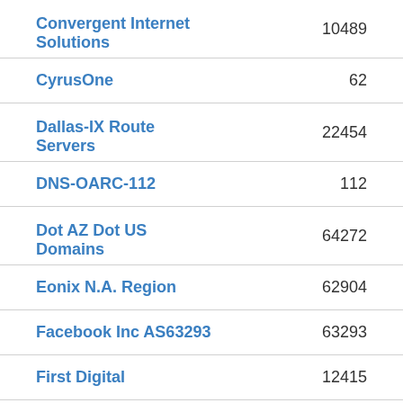| Name | Number |
| --- | --- |
| Convergent Internet Solutions | 10489 |
| CyrusOne | 62 |
| Dallas-IX Route Servers | 22454 |
| DNS-OARC-112 | 112 |
| Dot AZ Dot US Domains | 64272 |
| Eonix N.A. Region | 62904 |
| Facebook Inc AS63293 | 63293 |
| First Digital | 12415 |